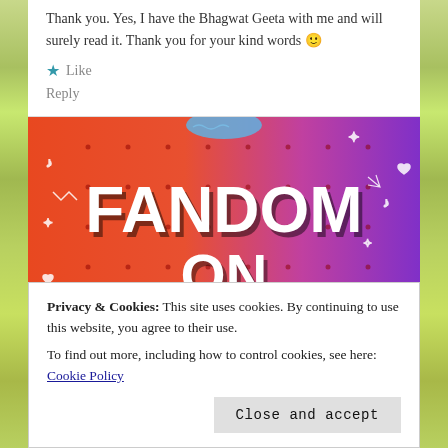Thank you. Yes, I have the Bhagwat Geeta with me and will surely read it. Thank you for your kind words 🙂
★ Like
Reply
[Figure (illustration): Colorful 'Fandom on tumblr' banner with orange-to-purple gradient background and doodle icons]
Privacy & Cookies: This site uses cookies. By continuing to use this website, you agree to their use.
To find out more, including how to control cookies, see here: Cookie Policy
Close and accept